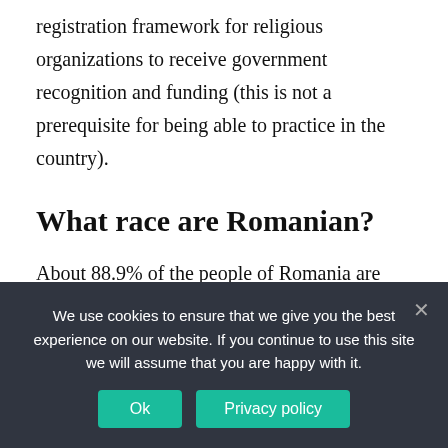registration framework for religious organizations to receive government recognition and funding (this is not a prerequisite for being able to practice in the country).
What race are Romanian?
About 88.9% of the people of Romania are ethnic Romanians, whose language, Romanian, is a Balkan Romance language, descended from Latin with some German, French, English, Greek, Slavic, and Hungarian borrowings. Romanians are by far the most numerous group of speakers of a Balkan Romance
We use cookies to ensure that we give you the best experience on our website. If you continue to use this site we will assume that you are happy with it.